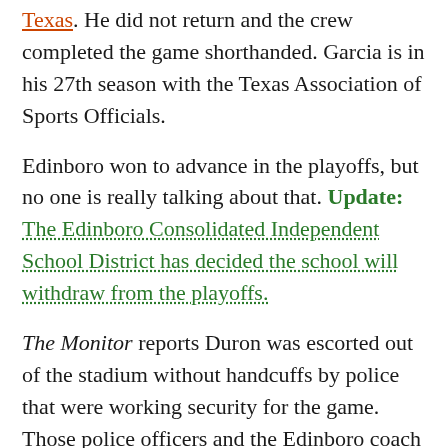Texas. He did not return and the crew completed the game shorthanded. Garcia is in his 27th season with the Texas Association of Sports Officials.
Edinboro won to advance in the playoffs, but no one is really talking about that. Update: The Edinboro Consolidated Independent School District has decided the school will withdraw from the playoffs.
The Monitor reports Duron was escorted out of the stadium without handcuffs by police that were working security for the game. Those police officers and the Edinboro coach declined to comment.
Duron was suspended several games in the 2019-20 soccer season in what is reported to be “a similar incident.” He is a senior, so he has already played his last game at the scholastic level.